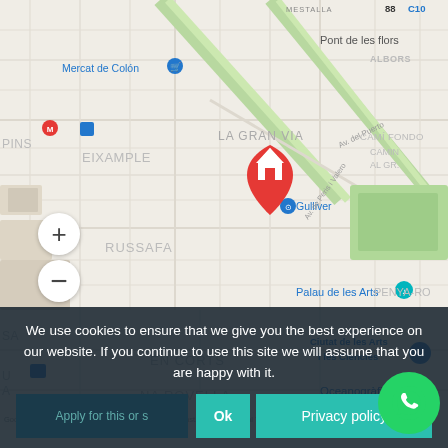[Figure (map): Google Maps screenshot showing Valencia, Spain. Map displays neighborhoods including LA GRAN VIA, EIXAMPLE, RUSSAFA, EN CORTS, NA ROVELLA, QUATRE CARRERES, CAMÍ FONDO, PENYA-RO, and landmarks including Mercat de Colón, Pont de les flors, Palau de les Arts, Gulliver, Ciutat de les Arts i les Ciències, Oceanogràfic. A red house-pin marker is placed near the center of the map. Zoom in (+) and zoom out (-) buttons appear on the left side.]
We use cookies to ensure that we give you the best experience on our website. If you continue to use this site we will assume that you are happy with it.
Apply for this or s
Ok
Privacy policy